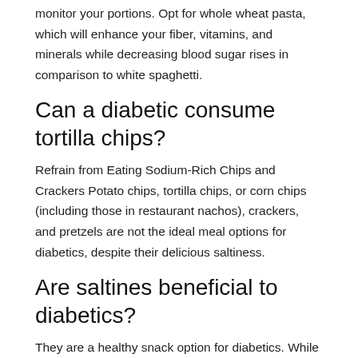monitor your portions. Opt for whole wheat pasta, which will enhance your fiber, vitamins, and minerals while decreasing blood sugar rises in comparison to white spaghetti.
Can a diabetic consume tortilla chips?
Refrain from Eating Sodium-Rich Chips and Crackers Potato chips, tortilla chips, or corn chips (including those in restaurant nachos), crackers, and pretzels are not the ideal meal options for diabetics, despite their delicious saltiness.
Are saltines beneficial to diabetics?
They are a healthy snack option for diabetics. While crackers may be heavy in carbohydrates, the fat in the cheese and the fiber in the crackers may avoid a blood sugar spike ( 10 , 11 , 44 , 45 ).